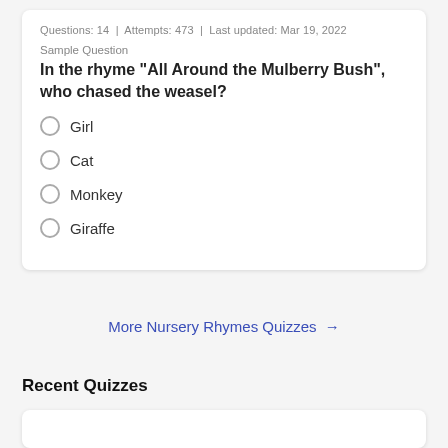Questions: 14  |  Attempts: 473  |  Last updated: Mar 19, 2022
Sample Question
In the rhyme "All Around the Mulberry Bush", who chased the weasel?
Girl
Cat
Monkey
Giraffe
More Nursery Rhymes Quizzes →
Recent Quizzes